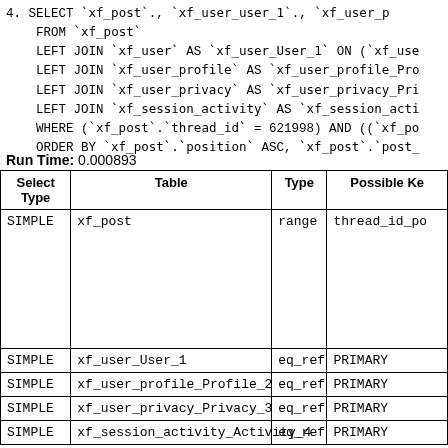4. SELECT `xf_post`., `xf_user_user_1`., `xf_user_p...
    FROM `xf_post`
    LEFT JOIN `xf_user` AS `xf_user_User_1` ON (`xf_use...
    LEFT JOIN `xf_user_profile` AS `xf_user_profile_Pro...
    LEFT JOIN `xf_user_privacy` AS `xf_user_privacy_Pri...
    LEFT JOIN `xf_session_activity` AS `xf_session_acti...
    WHERE (`xf_post`.`thread_id` = 621998) AND ((`xf_po...
    ORDER BY `xf_post`.`position` ASC, `xf_post`.`post_...
Run Time: 0.000893
| Select Type | Table | Type | Possible Ke... |
| --- | --- | --- | --- |
| SIMPLE | xf_post | range | thread_id_po... |
| SIMPLE | xf_user_User_1 | eq_ref | PRIMARY |
| SIMPLE | xf_user_profile_Profile_2 | eq_ref | PRIMARY |
| SIMPLE | xf_user_privacy_Privacy_3 | eq_ref | PRIMARY |
| SIMPLE | xf_session_activity_Activity_4 | eq_ref | PRIMARY |